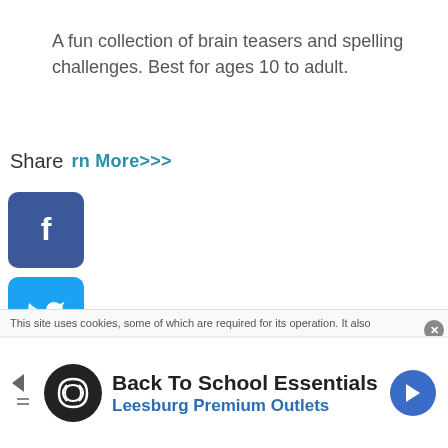A fun collection of brain teasers and spelling challenges. Best for ages 10 to adult.
Share  Learn More>>>
[Figure (illustration): Social media share buttons: Facebook (blue), Twitter (blue), Pinterest (red), Tumblr (dark blue), Reddit (orange), WhatsApp (green, partially visible)]
1 Word Play Puzzlers eBook
[Figure (screenshot): Product image thumbnail showing word puzzle book cover with colorful design]
This site uses cookies, some of which are required for its operation. It also
[Figure (infographic): Advertisement banner: Back To School Essentials - Leesburg Premium Outlets with circular logo and navigation arrow icon]